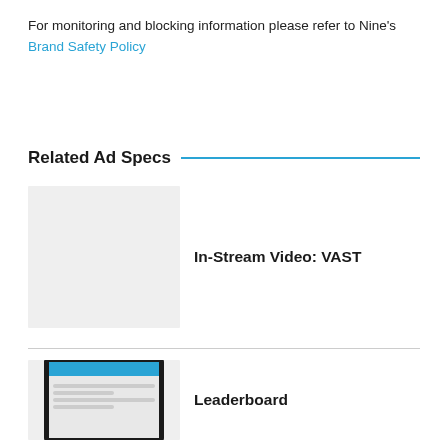For monitoring and blocking information please refer to Nine's Brand Safety Policy
Related Ad Specs
[Figure (other): Grey placeholder image for In-Stream Video VAST ad spec card]
In-Stream Video: VAST
[Figure (screenshot): Tablet device showing a leaderboard advertisement layout]
Leaderboard